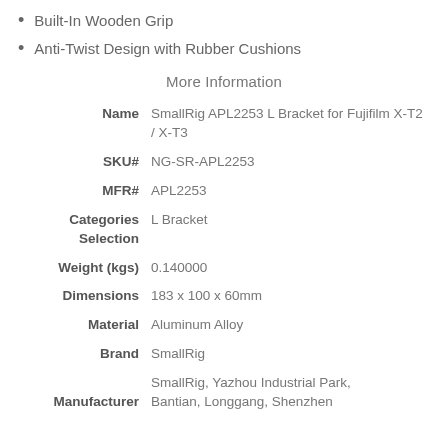Built-In Wooden Grip
Anti-Twist Design with Rubber Cushions
More Information
| Field | Value |
| --- | --- |
| Name | SmallRig APL2253 L Bracket for Fujifilm X-T2 / X-T3 |
| SKU# | NG-SR-APL2253 |
| MFR# | APL2253 |
| Categories Selection | L Bracket |
| Weight (kgs) | 0.140000 |
| Dimensions | 183 x 100 x 60mm |
| Material | Aluminum Alloy |
| Brand | SmallRig |
| Manufacturer | SmallRig, Yazhou Industrial Park, Bantian, Longgang, Shenzhen |